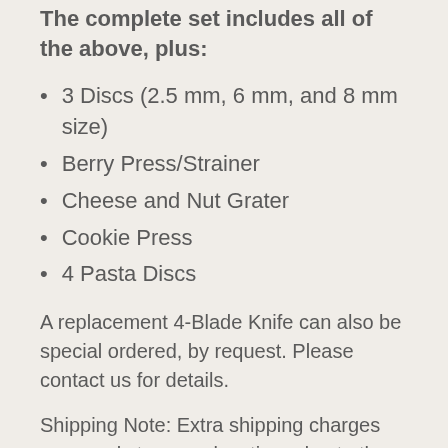The complete set includes all of the above, plus:
3 Discs (2.5 mm, 6 mm, and 8 mm size)
Berry Press/Strainer
Cheese and Nut Grater
Cookie Press
4 Pasta Discs
A replacement 4-Blade Knife can also be special ordered, by request. Please contact us for details.
Shipping Note: Extra shipping charges may apply to some locations due to the large size and weight of these items. If so, our shipping department will contact you with details